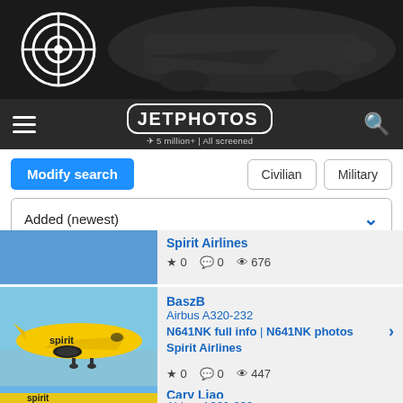[Figure (photo): JetPhotos website banner showing a front view of a white commercial aircraft on dark background with target/bullseye logo on left]
[Figure (logo): JetPhotos navigation bar with hamburger menu, JETPHOTOS logo with '5 million+ | All screened' tagline, and search magnifier icon]
Modify search
Civilian | Military
Added (newest)
Spirit Airlines
★ 0  💬 0  👁 676
[Figure (photo): Yellow Spirit Airlines Airbus A320 aircraft in flight against blue sky]
BaszB
Airbus A320-232
N641NK full info | N641NK photos
Spirit Airlines
★ 0  💬 0  👁 447
[Figure (photo): Yellow Spirit Airlines Airbus A320 aircraft, partial view, bottom of page]
Cary Liao
Airbus A320-232